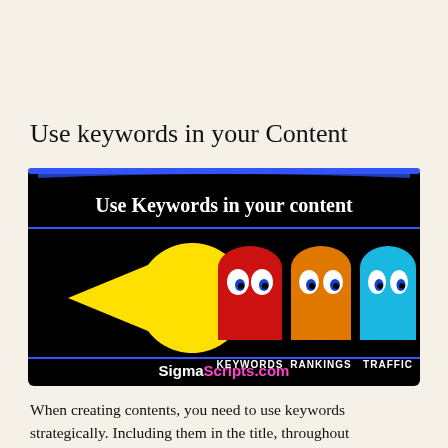Use keywords in your Content
[Figure (infographic): Pac-Man themed infographic on black background with blue border. Title 'Use Keywords in your content' at top. Yellow Pac-Man on left eating three ghost characters: red ghost labeled KEYWORDS, orange ghost labeled RANKINGS, blue ghost labeled TRAFFIC. Bottom text: 'SigmaScripts.com' with 'Sigma' in white and 'Scripts.com' in magenta/pink.]
When creating contents, you need to use keywords strategically. Including them in the title, throughout